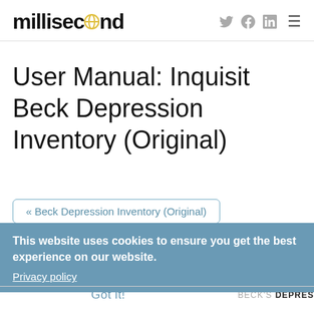millisecond
User Manual: Inquisit Beck Depression Inventory (Original)
« Beck Depression Inventory (Original)
This website uses cookies to ensure you get the best experience on our website.
Privacy policy
Got it!
BECK'S DEPRES